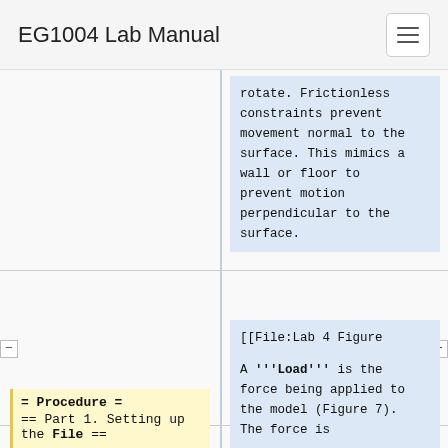EG1004 Lab Manual
rotate. Frictionless constraints prevent movement normal to the surface. This mimics a wall or floor to prevent motion perpendicular to the surface.
= Procedure =
[[File:Lab 4 Figure 6.PNG|600px|thumb|center|Figure 6: Example of Fixed Constraints]]
== Part 1. Setting up the File ==
A '''Load''' is the force being applied to the model (Figure 7). The force is